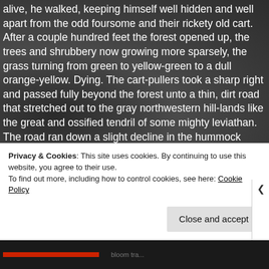alive, he walked, keeping himself well hidden and well apart from the odd foursome and their rickety old cart. After a couple hundred feet the forest opened up, the trees and shrubbery now growing more sparsely, the grass turning from green to yellow-green to a dull orange-yellow. Dying. The cart-pullers took a sharp right and passed fully beyond the forest unto a thin, dirt road that stretched out to the gray northwestern hill-lands like the great and ossified tendril of some mighty leviathan. The road ran down a slight decline in the hummock ridden surface of the world and then diverged, one track splitting off to a
Privacy & Cookies: This site uses cookies. By continuing to use this website, you agree to their use.
To find out more, including how to control cookies, see here: Cookie Policy
Close and accept